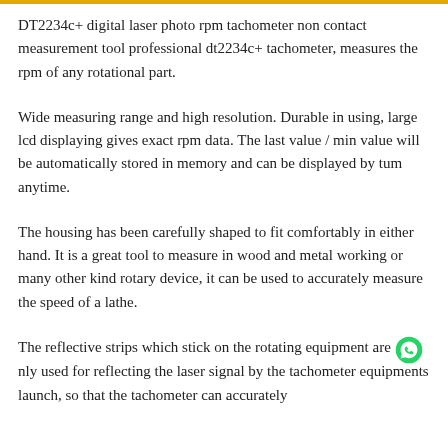DT2234c+ digital laser photo rpm tachometer non contact measurement tool professional dt2234c+ tachometer, measures the rpm of any rotational part.
Wide measuring range and high resolution. Durable in using, large lcd displaying gives exact rpm data. The last value / min value will be automatically stored in memory and can be displayed by tum anytime.
The housing has been carefully shaped to fit comfortably in either hand. It is a great tool to measure in wood and metal working or many other kind rotary device, it can be used to accurately measure the speed of a lathe.
The reflective strips which stick on the rotating equipment are only used for reflecting the laser signal by the tachometer equipments launch, so that the tachometer can accurately